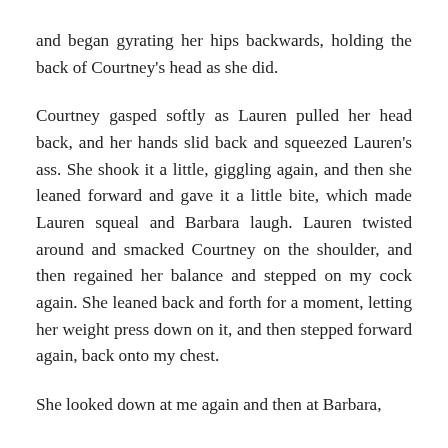and began gyrating her hips backwards, holding the back of Courtney's head as she did.
Courtney gasped softly as Lauren pulled her head back, and her hands slid back and squeezed Lauren's ass. She shook it a little, giggling again, and then she leaned forward and gave it a little bite, which made Lauren squeal and Barbara laugh. Lauren twisted around and smacked Courtney on the shoulder, and then regained her balance and stepped on my cock again. She leaned back and forth for a moment, letting her weight press down on it, and then stepped forward again, back onto my chest.
She looked down at me again and then at Barbara,